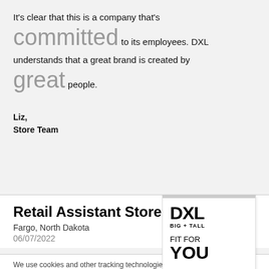It's clear that this is a company that's committed to its employees. DXL understands that a great brand is created by great people.
Liz,
Store Team
[Figure (logo): DXL Big + Tall 'Fit For You' hang tag logo]
Retail Assistant Store Manager
Fargo, North Dakota
06/07/2022
We use cookies and other tracking technologies to assist with navigation,